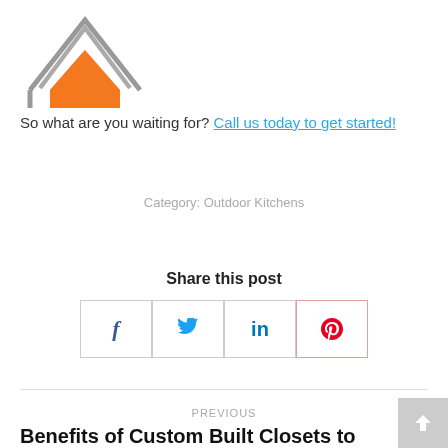[Figure (logo): House/home logo with gray roof outline and orange filled house shape]
So what are you waiting for? Call us today to get started!
Category: Outdoor Kitchens
Share this post
[Figure (infographic): Four social share icon boxes: Facebook (f), Twitter (bird), LinkedIn (in), Pinterest (P)]
PREVIOUS
Benefits of Custom Built Closets to Organize Your Home